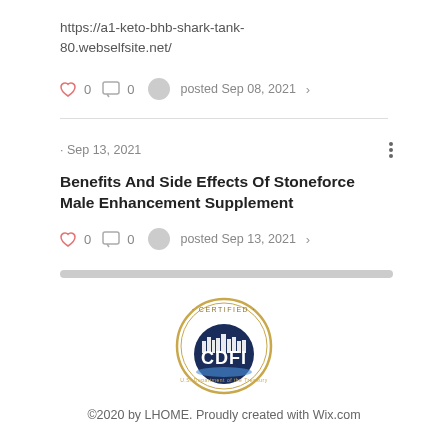https://a1-keto-bhb-shark-tank-80.webselfsite.net/
0  0  posted Sep 08, 2021
· Sep 13, 2021
Benefits And Side Effects Of Stoneforce Male Enhancement Supplement
0  0  posted Sep 13, 2021
[Figure (logo): CDFI Certified U.S. Department of the Treasury seal/logo]
©2020 by LHOME. Proudly created with Wix.com